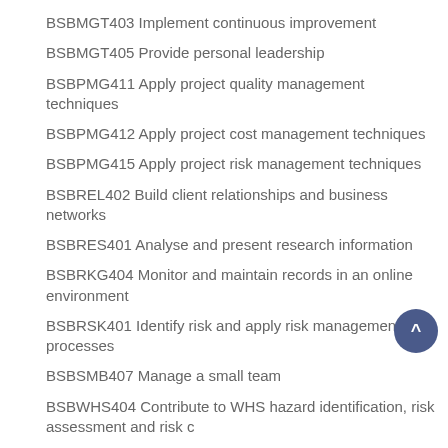BSBMGT403 Implement continuous improvement
BSBMGT405 Provide personal leadership
BSBPMG411 Apply project quality management techniques
BSBPMG412 Apply project cost management techniques
BSBPMG415 Apply project risk management techniques
BSBREL402 Build client relationships and business networks
BSBRES401 Analyse and present research information
BSBRKG404 Monitor and maintain records in an online environment
BSBRSK401 Identify risk and apply risk management processes
BSBSMB407 Manage a small team
BSBWHS404 Contribute to WHS hazard identification, risk assessment and risk c
BSBWOR404 Develop work priorities
TAEDEL402 Plan, organise and facilitate learning in the workplace
TAEDEL404 Mentor in the workplace
Qualification Mapping Information
| Code and title | Code and title |
| --- | --- |